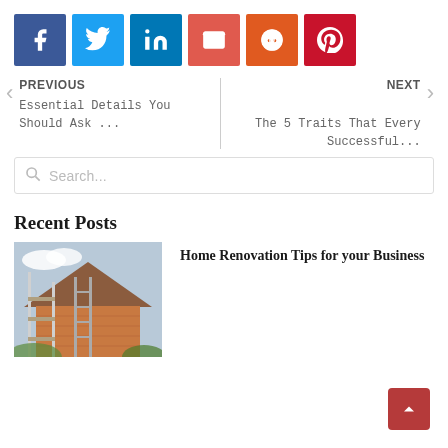[Figure (other): Social media share buttons row: Facebook (dark blue), Twitter (light blue), LinkedIn (dark teal), Email (red), Reddit (orange-red), Pinterest (dark red)]
PREVIOUS
Essential Details You Should Ask ...
NEXT
The 5 Traits That Every Successful...
Search...
Recent Posts
[Figure (photo): Photo of a house with scaffolding on the side, brick exterior, ladder visible]
Home Renovation Tips for your Business